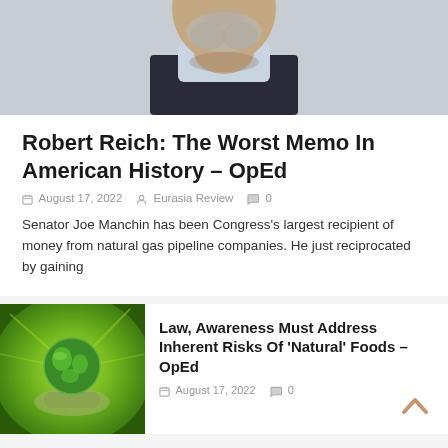[Figure (photo): Cropped portrait photo of a middle-aged man with white/gray beard wearing a dark suit jacket, shown from chest up, light gray background.]
Robert Reich: The Worst Memo In American History – OpEd
August 17, 2022  Eurasia Review  0
Senator Joe Manchin has been Congress's largest recipient of money from natural gas pipeline companies. He just reciprocated by gaining
[Figure (photo): Hands holding a glowing green Earth globe against a radiant green background.]
Law, Awareness Must Address Inherent Risks Of 'Natural' Foods – OpEd
August 17, 2022  0